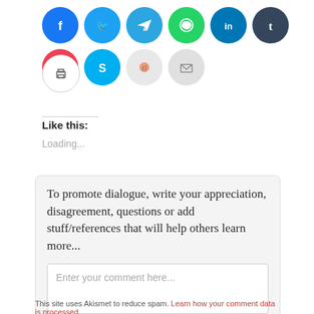[Figure (other): Row of social sharing icon circles: Facebook (blue), Twitter (light blue), Telegram (cyan), WhatsApp (green), LinkedIn (dark blue), Tumblr (dark navy), Pocket (red), Skype (sky blue), Reddit (light gray), Email (gray), and a Print icon (white with border)]
Like this:
Loading...
To promote dialogue, write your appreciation, disagreement, questions or add stuff/references that will help others learn more...
Enter your comment here...
This site uses Akismet to reduce spam. Learn how your comment data is processed.